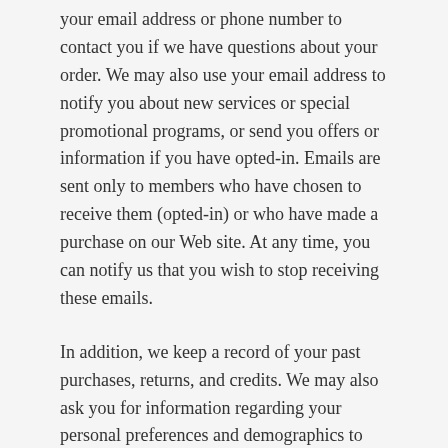your email address or phone number to contact you if we have questions about your order. We may also use your email address to notify you about new services or special promotional programs, or send you offers or information if you have opted-in. Emails are sent only to members who have chosen to receive them (opted-in) or who have made a purchase on our Web site. At any time, you can notify us that you wish to stop receiving these emails.
In addition, we keep a record of your past purchases, returns, and credits. We may also ask you for information regarding your personal preferences and demographics to help us better meet your needs.
Cookies
Like many other transactional web sites, we use “cookies” to improve your shopping experience and to save you